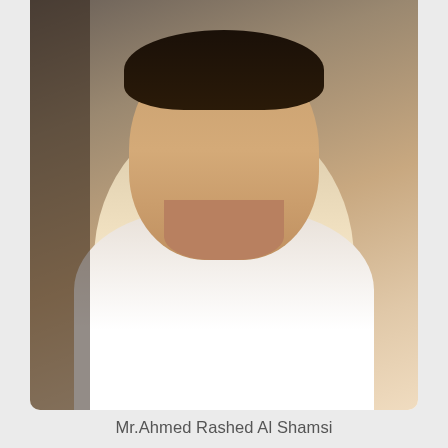[Figure (photo): Portrait photo of Mr. Ahmed Rashed Al Shamsi wearing white traditional Arab dress (kandura), cropped to show head and upper chest, gray/brown background]
Mr.Ahmed Rashed Al Shamsi
Member
[Figure (photo): Portrait photo of a man wearing white traditional Arab dress (kandura) and black agal headwear, smiling, partially visible at bottom of page]